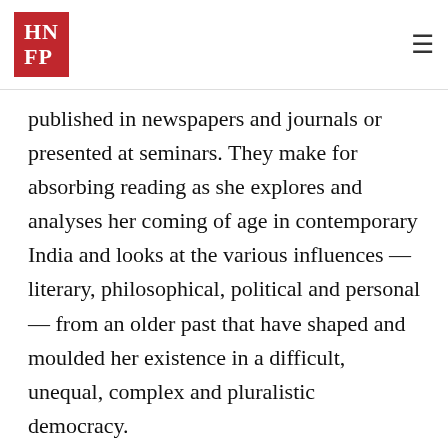HNFP
published in newspapers and journals or presented at seminars. They make for absorbing reading as she explores and analyses her coming of age in contemporary India and looks at the various influences — literary, philosophical, political and personal — from an older past that have shaped and moulded her existence in a difficult, unequal, complex and pluralistic democracy. The book is divided into four parts and the short